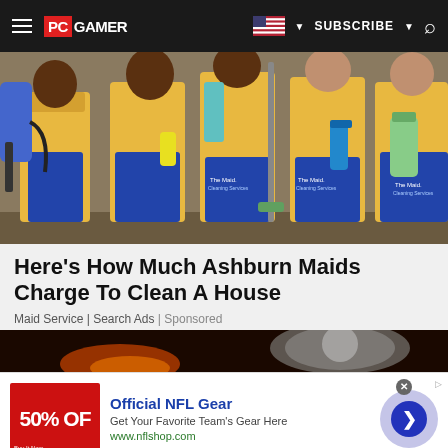PC GAMER — SUBSCRIBE
[Figure (photo): Photo of maids/cleaning service workers in yellow shirts and blue aprons holding cleaning equipment including a backpack vacuum, mop, spray bottles]
Here's How Much Ashburn Maids Charge To Clean A House
Maid Service | Search Ads | Sponsored
[Figure (photo): Partial dark image below the article card, appears to be a second article thumbnail with dark/fire imagery]
[Figure (infographic): Advertisement banner: Official NFL Gear - Get Your Favorite Team's Gear Here - www.nflshop.com, with red banner showing 50% OFF and a blue arrow button]